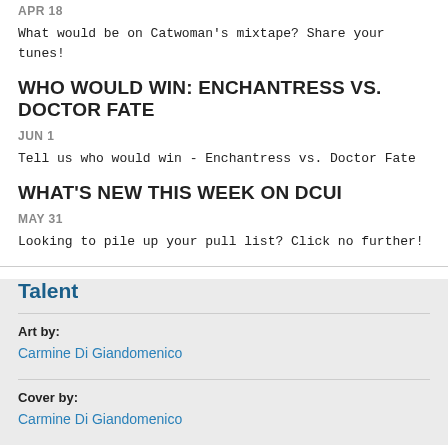APR 18
What would be on Catwoman's mixtape? Share your tunes!
WHO WOULD WIN: ENCHANTRESS VS. DOCTOR FATE
JUN 1
Tell us who would win - Enchantress vs. Doctor Fate
WHAT'S NEW THIS WEEK ON DCUI
MAY 31
Looking to pile up your pull list? Click no further!
Talent
Art by:
Carmine Di Giandomenico
Cover by:
Carmine Di Giandomenico